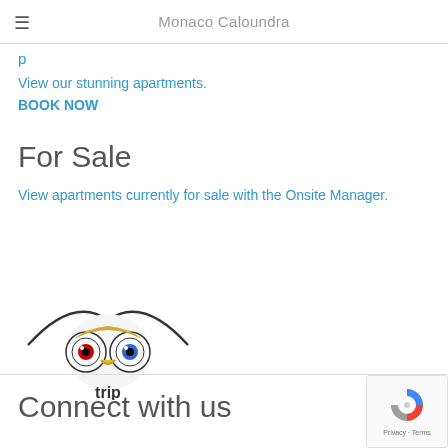Monaco Caloundra
p
View our stunning apartments.
BOOK NOW
For Sale
View apartments currently for sale with the Onsite Manager.
[Figure (logo): TripAdvisor logo showing an owl face with binocular eyes and curved wing lines above, with 'trip' text below]
Connect with us
[Figure (logo): reCAPTCHA badge with circular arrow icon and 'Privacy - Terms' text]